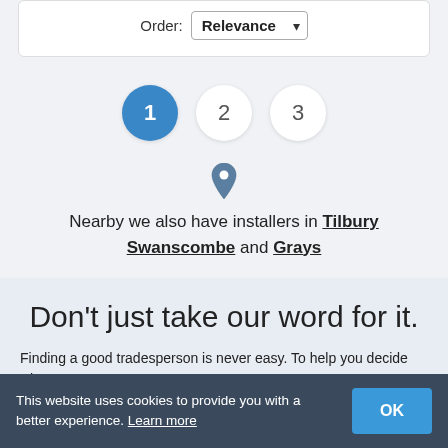Order: Relevance
[Figure (other): Pagination with three circles: page 1 (active, blue), page 2, page 3]
[Figure (other): Location pin icon]
Nearby we also have installers in Tilbury Swanscombe and Grays
Don't just take our word for it.
Finding a good tradesperson is never easy. To help you decide who to hire, take a look at some of our genuine customer reviews
This website uses cookies to provide you with a better experience. Learn more